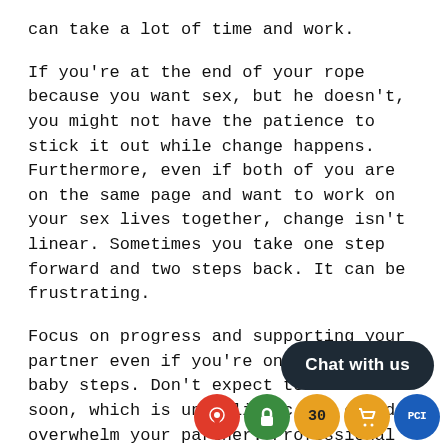can take a lot of time and work.
If you're at the end of your rope because you want sex, but he doesn't, you might not have the patience to stick it out while change happens. Furthermore, even if both of you are on the same page and want to work on your sex lives together, change isn't linear. Sometimes you take one step forward and two steps back. It can be frustrating.
Focus on progress and supporting your partner even if you're only taking baby steps. Don't expect too much too soon, which is unrealistic and could overwhelm your partner. Professional therapy can be quite beneficial in these situations. We recommend a sex-positive therapist, and you can find a list in the resources section.
If the two of you can work together save your sex life, and you m...